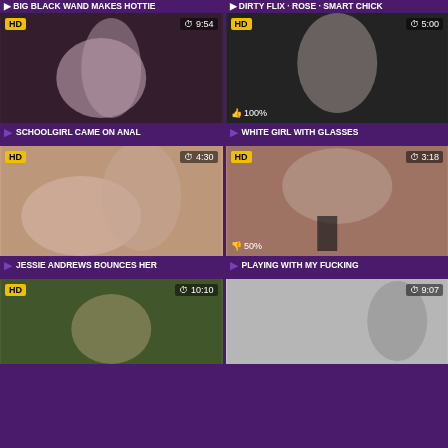BIG BLACK WAND MAKES HOTTIE
DIRTY FLIX - ROSE - SMART CHICK
[Figure (screenshot): Video thumbnail - schoolgirl anal scene, HD badge, duration 9:54]
SCHOOLGIRL CAME ON ANAL
[Figure (screenshot): Video thumbnail - white girl with glasses scene, HD badge, duration 5:00, 100% rating]
WHITE GIRL WITH GLASSES
[Figure (screenshot): Video thumbnail - Jessie Andrews scene, HD badge, duration 4:30]
JESSIE ANDREWS BOUNCES HER
[Figure (screenshot): Video thumbnail - machine scene, HD badge, duration 3:18, 50% rating]
PLAYING WITH MY FUCKING
[Figure (screenshot): Video thumbnail - outdoor scene, HD badge, duration 10:10]
[Figure (screenshot): Video thumbnail - indoor scene, duration 9:07]